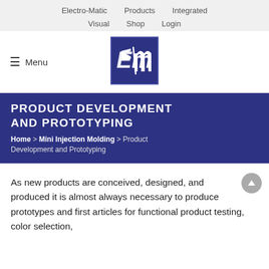Electro-Matic   Products   Integrated
Visual   Shop   Login
[Figure (logo): Electro-Matic (Em) logo — white stylized Em letters on dark blue square background]
PRODUCT DEVELOPMENT AND PROTOTYPING
Home > Mini Injection Molding > Product Development and Prototyping
As new products are conceived, designed, and produced it is almost always necessary to produce prototypes and first articles for functional product testing, color selection,